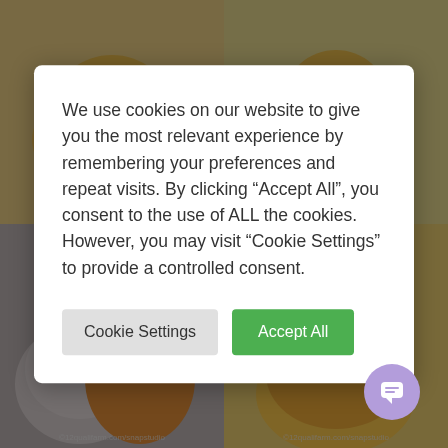[Figure (photo): Four dog/animal figurines in tan/golden color arranged in a 2x2 grid. Top-left: sleeping puppy figurine. Top-right: puppy with flower collar. Bottom-left: fluffy dog figurine in gray and brown. Bottom-right: golden fluffy dog figurine.]
We use cookies on our website to give you the most relevant experience by remembering your preferences and repeat visits. By clicking “Accept All”, you consent to the use of ALL the cookies. However, you may visit “Cookie Settings” to provide a controlled consent.
Cookie Settings
Accept All